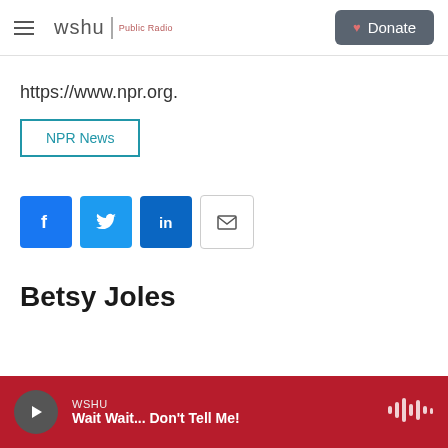WSHU Public Radio | Donate
https://www.npr.org.
NPR News
[Figure (other): Social sharing icons: Facebook, Twitter, LinkedIn, Email]
Betsy Joles
WSHU — Wait Wait... Don't Tell Me!